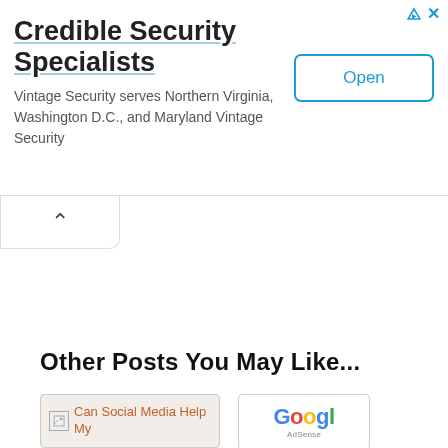[Figure (screenshot): Google AdSense advertisement banner for 'Credible Security Specialists' / Vintage Security. Shows large bold title text, descriptive subtext, and an 'Open' button on the right. Top-right has AdChoices arrow icon and close X button.]
[Figure (other): Collapse/chevron up tab below the ad banner, white box with upward chevron icon]
Other Posts You May Like...
[Figure (screenshot): Card showing broken image icon followed by orange-colored text 'Can Social Media Help My' on pinkish-beige background]
[Figure (logo): Google AdSense logo: Google text in multicolor (blue, red, yellow, green) with 'AdSense' label below, white background card]